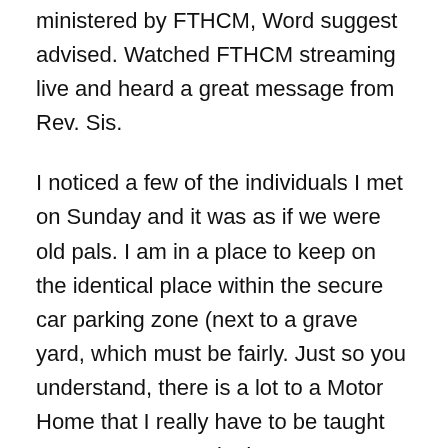ministered by FTHCM, Word suggest advised. Watched FTHCM streaming live and heard a great message from Rev. Sis.
I noticed a few of the individuals I met on Sunday and it was as if we were old pals. I am in a place to keep on the identical place within the secure car parking zone (next to a grave yard, which must be fairly. Just so you understand, there is a lot to a Motor Home that I really have to be taught once more. Not only do you've a car, but a house on the back, it strikes and far consideration should be given to all elements. Experience helps nevertheless it has been about 10 years since I've had RV expertise and I am getting re-acquainted with it another time AND I am getting acquainted with a Coach I have by no means had before.